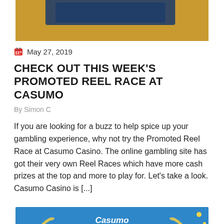[Figure (photo): Top partial image with golden/tan background, partially cropped at top of page]
May 27, 2019
CHECK OUT THIS WEEK'S PROMOTED REEL RACE AT CASUMO
By Simon C
If you are looking for a buzz to help spice up your gambling experience, why not try the Promoted Reel Race at Casumo Casino. The online gambling site has got their very own Reel Races which have more cash prizes at the top and more to play for. Let’s take a look. Casumo Casino is [...]
[Figure (photo): Blue promotional banner for Casumo Reel Race with yellow laurel wreaths, white text 'Casumo' in cursive, and large bold dark text 'REEL']